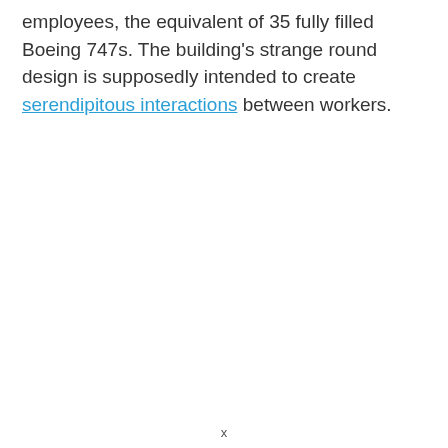employees, the equivalent of 35 fully filled Boeing 747s. The building's strange round design is supposedly intended to create serendipitous interactions between workers.
x